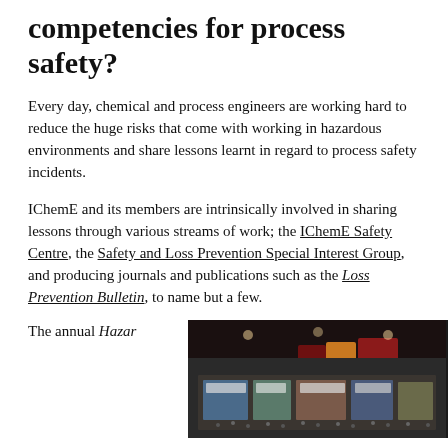competencies for process safety?
Every day, chemical and process engineers are working hard to reduce the huge risks that come with working in hazardous environments and share lessons learnt in regard to process safety incidents.
IChemE and its members are intrinsically involved in sharing lessons through various streams of work; the IChemE Safety Centre, the Safety and Loss Prevention Special Interest Group, and producing journals and publications such as the Loss Prevention Bulletin, to name but a few.
The annual Hazar
[Figure (photo): Aerial view of a large conference hall/exhibition floor filled with attendees and exhibition stands, with colorful backdrops visible.]